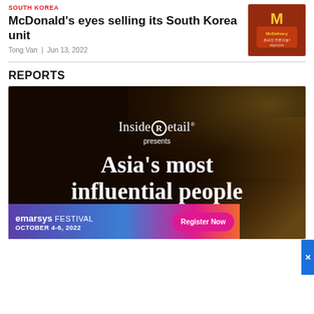SOUTH KOREA
McDonald’s eyes selling its South Korea unit
Tong Van | Jun 13, 2022
[Figure (photo): McDonald’s McDelivery signage with Korean text]
REPORTS
[Figure (photo): Inside Retail presents Asia’s most influential people — dark background with gold shimmer, white serif text]
[Figure (infographic): Emarsys Festival October 4-6, 2022 — Register Now banner with purple-to-pink gradient]